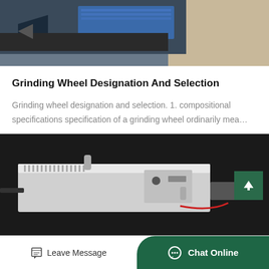[Figure (photo): Industrial grinding machine equipment visible at top, blue and metallic parts]
Grinding Wheel Designation And Selection
Grinding wheel designation and selection. 1. compositional specifications specification of a grinding wheel ordinarily mea…
Dec_1
GET PRICE
[Figure (photo): Industrial machine equipment on dark background, white machinery with components]
Leave Message
Chat Online